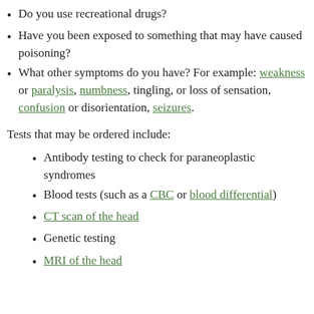Do you use recreational drugs?
Have you been exposed to something that may have caused poisoning?
What other symptoms do you have? For example: weakness or paralysis, numbness, tingling, or loss of sensation, confusion or disorientation, seizures.
Tests that may be ordered include:
Antibody testing to check for paraneoplastic syndromes
Blood tests (such as a CBC or blood differential)
CT scan of the head
Genetic testing
MRI of the head